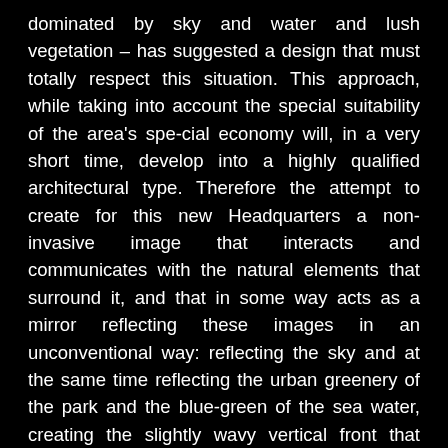dominated by sky and water and lush vegetation – has suggested a design that must totally respect this situation. This approach, while taking into account the special suitability of the area's spe-cial economy will, in a very short time, develop into a highly qualified architectural type. Therefore the attempt to create for this new Headquarters a non-invasive image that interacts and communicates with the natural elements that surround it, and that in some way acts as a mirror reflecting these images in an unconventional way: reflecting the sky and at the same time reflecting the urban greenery of the park and the blue-green of the sea water, creating the slightly wavy vertical front that reflects this image making it alive with the same movements. The volume effect “changing” consists of four vertical prismatic elements (the four companies of the group) that break down the mass, is strongly marked and uniquely related to Shenhua, with the inclusion of the logo, in the texture of the facade,